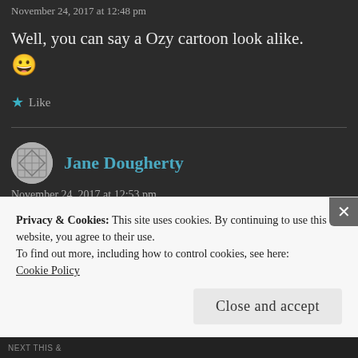November 24, 2017 at 12:48 pm
Well, you can say a Ozy cartoon look alike. 😀
Like
Jane Dougherty
November 24, 2017 at 12:53 pm
Privacy & Cookies: This site uses cookies. By continuing to use this website, you agree to their use.
To find out more, including how to control cookies, see here: Cookie Policy
Close and accept